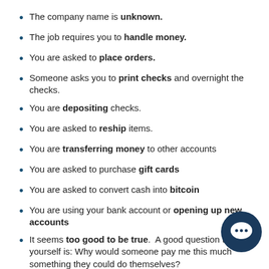The company name is unknown.
The job requires you to handle money.
You are asked to place orders.
Someone asks you to print checks and overnight the checks.
You are depositing checks.
You are asked to reship items.
You are transferring money to other accounts
You are asked to purchase gift cards
You are asked to convert cash into bitcoin
You are using your bank account or opening up new accounts
It seems too good to be true. A good question to yourself is: Why would someone pay me this much something they could do themselves?
Scammers may impersonate someone at UB, like a
[Figure (illustration): Dark navy blue circular chat/message icon with a speech bubble symbol]